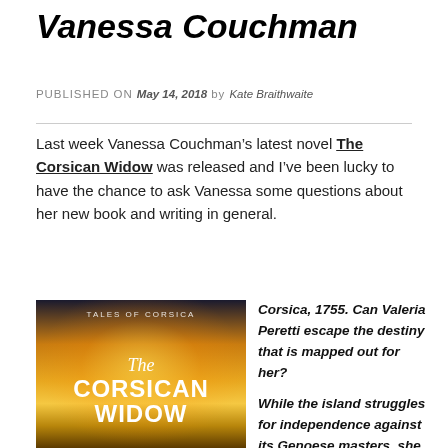Vanessa Couchman
PUBLISHED ON May 14, 2018 by Kate Braithwaite
Last week Vanessa Couchman’s latest novel The Corsican Widow was released and I’ve been lucky to have the chance to ask Vanessa some questions about her new book and writing in general.
[Figure (photo): Book cover of The Corsican Widow by Vanessa Couchman, part of the Tales of Corsica series. Shows a coastal Corsican landscape at sunset with warm golden and orange tones. Title reads: TALES OF CORSICA / The / CORSICAN / WIDOW.]
Corsica, 1755. Can Valeria Peretti escape the destiny that is mapped out for her?

While the island struggles for independence against its Genoese masters, she must marry an older, wealthy man. A